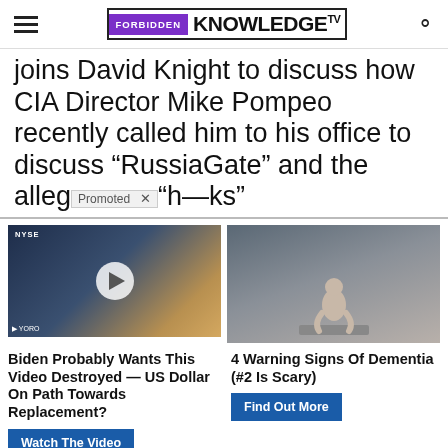Forbidden Knowledge TV
joins David Knight to discuss how CIA Director Mike Pompeo recently called him to his office to discuss “RussiaGate” and the alleg— “h—ks”
Promoted ×
[Figure (photo): Thumbnail of a man in a suit being interviewed in front of NYSE signage, with a play button overlay]
[Figure (photo): Thumbnail of an elderly person sitting on the edge of a bed, hunched over]
Biden Probably Wants This Video Destroyed — US Dollar On Path Towards Replacement? Watch The Video
4 Warning Signs Of Dementia (#2 Is Scary) Find Out More